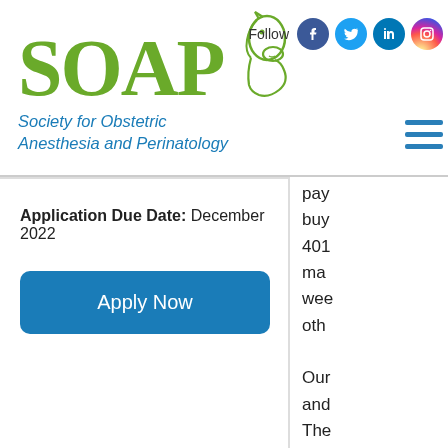[Figure (logo): SOAP logo with green serif letters and horse head illustration, with tagline 'Society for Obstetric Anesthesia and Perinatology' in blue italic]
[Figure (infographic): Social media icons: Follow label followed by Facebook, Twitter, LinkedIn, Instagram circular icons]
Application Due Date:  December 2022
Apply Now
pay
buy
401
ma
wee
oth

Our
and
The
will